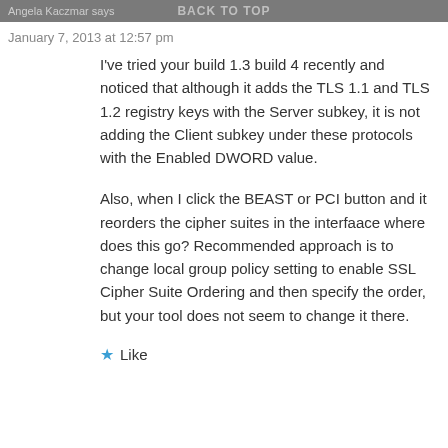Angela Kaczmar says  BACK TO TOP
January 7, 2013 at 12:57 pm
I've tried your build 1.3 build 4 recently and noticed that although it adds the TLS 1.1 and TLS 1.2 registry keys with the Server subkey, it is not adding the Client subkey under these protocols with the Enabled DWORD value.
Also, when I click the BEAST or PCI button and it reorders the cipher suites in the interfaace where does this go? Recommended approach is to change local group policy setting to enable SSL Cipher Suite Ordering and then specify the order, but your tool does not seem to change it there.
★ Like